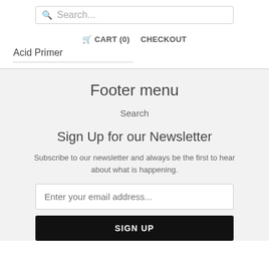Search...
🛒 CART (0)   CHECKOUT
Acid Primer
Footer menu
Search
Sign Up for our Newsletter
Subscribe to our newsletter and always be the first to hear about what is happening.
Enter your email address...
SIGN UP